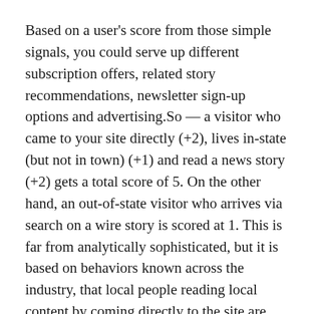Based on a user's score from those simple signals, you could serve up different subscription offers, related story recommendations, newsletter sign-up options and advertising.So — a visitor who came to your site directly (+2), lives in-state (but not in town) (+1) and read a news story (+2) gets a total score of 5. On the other hand, an out-of-state visitor who arrives via search on a wire story is scored at 1. This is far from analytically sophisticated, but it is based on behaviors known across the industry, that local people reading local content by coming directly to the site are most likely to subscribe.
As your targeting grows more sophisticated, requiring tracking behavior across multiple visits, more advanced tools will be needed. But that eventual need should not stop efforts to convert